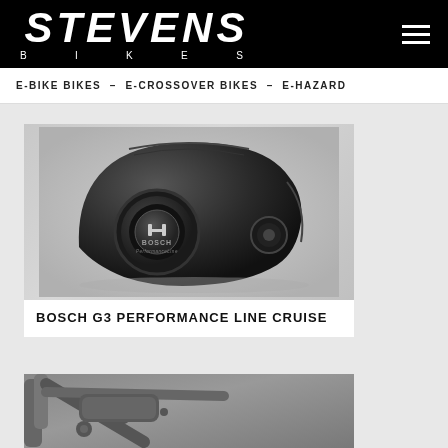STEVENS BIKES
E-BIKE BIKES – E-CROSSOVER BIKES – E-HAZARD
[Figure (photo): Bosch G3 Performance Line Cruise motor unit, dark grey/black finish, shown from the side with circular chainring connector and Bosch PerformanceLine branding. Product shot on light grey gradient background.]
BOSCH G3 PERFORMANCE LINE CRUISE
[Figure (photo): Partial view of a bicycle frame/component, dark grey metallic finish, showing frame tubes and what appears to be a motor mount area. Cropped at bottom of page.]